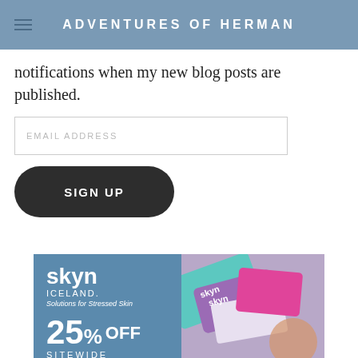ADVENTURES OF HERMAN
notifications when my new blog posts are published.
[Figure (screenshot): Email address input field with placeholder text EMAIL ADDRESS]
[Figure (screenshot): Dark rounded button with text SIGN UP]
[Figure (infographic): Skyn Iceland advertisement banner showing 25% OFF SITEWIDE with product images on the right side]